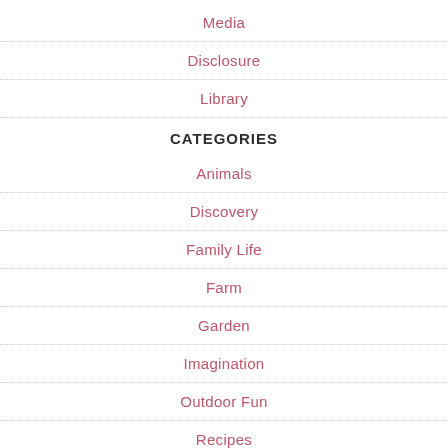Media
Disclosure
Library
CATEGORIES
Animals
Discovery
Family Life
Farm
Garden
Imagination
Outdoor Fun
Recipes